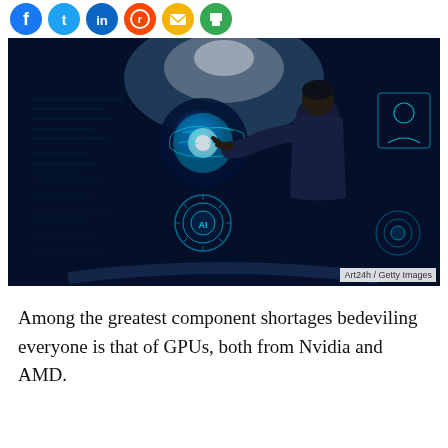[Figure (other): Social media share icons: Facebook (blue), Twitter (light blue), LinkedIn (dark blue), Reddit (red/orange), email (yellow), print (green)]
[Figure (photo): Person in dark clothing touching a glowing digital AI interface display with holographic world map, data overlays, and futuristic UI elements. Cyan/blue toned technology image.]
Art24h / Getty Images
Among the greatest component shortages bedeviling everyone is that of GPUs, both from Nvidia and AMD.